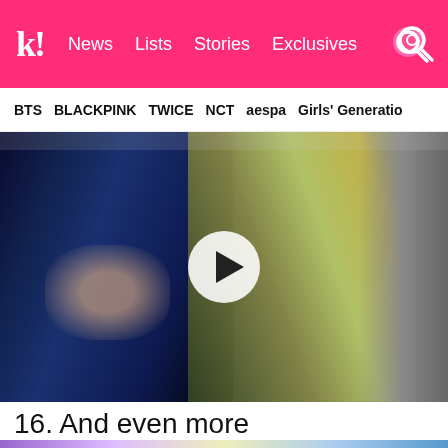k! News  Lists  Stories  Exclusives
BTS  BLACKPINK  TWICE  NCT  aespa  Girls' Generation
[Figure (screenshot): Video thumbnail showing people inside a car; a man in a navy blue shirt is in the foreground, person in yellow/green jacket in background. A circular play button overlay is shown in the center.]
16. And even more
[Figure (photo): Bottom portion of a photo showing a person with blonde hair, partial face visible, purple/blue background with 'MC' text visible at right edge.]